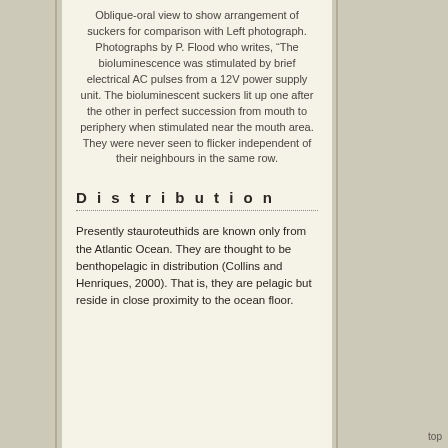Oblique-oral view to show arrangement of suckers for comparison with Left photograph. Photographs by P. Flood who writes, "The bioluminescence was stimulated by brief electrical AC pulses from a 12V power supply unit. The bioluminescent suckers lit up one after the other in perfect succession from mouth to periphery when stimulated near the mouth area. They were never seen to flicker independent of their neighbours in the same row.
Distribution
Presently stauroteuthids are known only from the Atlantic Ocean. They are thought to be benthopelagic in distribution (Collins and Henriques, 2000). That is, they are pelagic but reside in close proximity to the ocean floor.